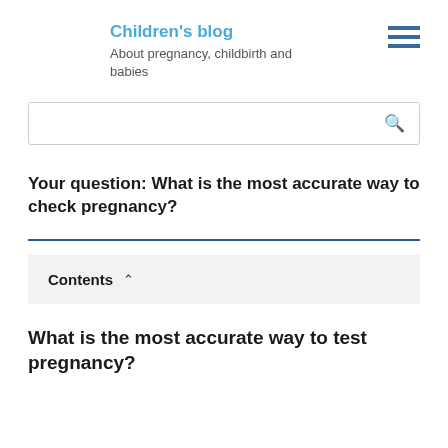Children's blog
About pregnancy, childbirth and babies
Your question: What is the most accurate way to check pregnancy?
Contents
What is the most accurate way to test pregnancy?